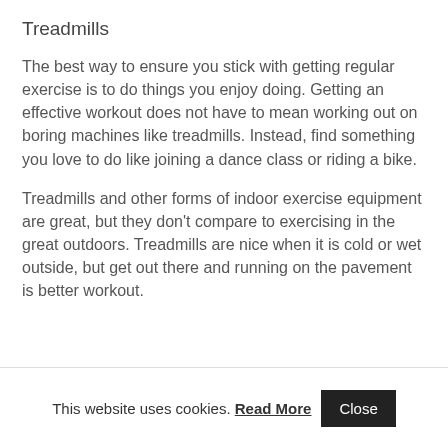Treadmills
The best way to ensure you stick with getting regular exercise is to do things you enjoy doing. Getting an effective workout does not have to mean working out on boring machines like treadmills. Instead, find something you love to do like joining a dance class or riding a bike.
Treadmills and other forms of indoor exercise equipment are great, but they don't compare to exercising in the great outdoors. Treadmills are nice when it is cold or wet outside, but get out there and running on the pavement is better workout.
This website uses cookies. Read More  Close